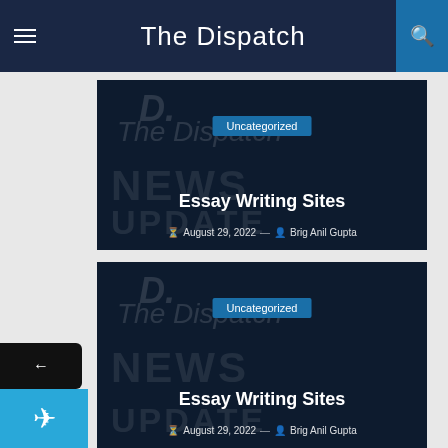The Dispatch
[Figure (screenshot): Article card 1: Dark navy background with watermark text 'D. The Dispatch NEWS UPDATE'. Category badge 'Uncategorized'. Title 'Essay Writing Sites'. Date 'August 29, 2022' and author 'Brig Anil Gupta'.]
[Figure (screenshot): Article card 2: Dark navy background with watermark text 'D. The Dispatch NEWS UPDATE'. Category badge 'Uncategorized'. Title 'Essay Writing Sites'. Date 'August 29, 2022' and author 'Brig Anil Gupta'.]